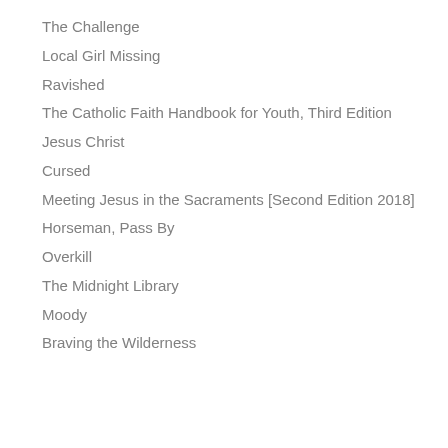The Challenge
Local Girl Missing
Ravished
The Catholic Faith Handbook for Youth, Third Edition
Jesus Christ
Cursed
Meeting Jesus in the Sacraments [Second Edition 2018]
Horseman, Pass By
Overkill
The Midnight Library
Moody
Braving the Wilderness